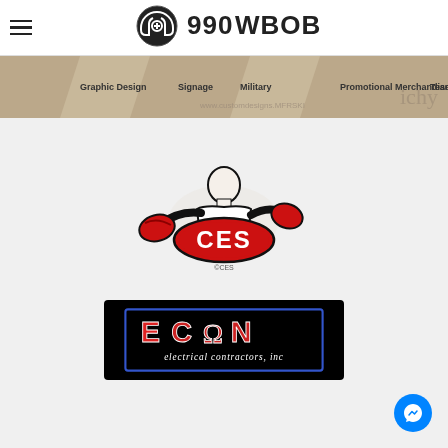990WBOB radio station website header with hamburger menu and logo
[Figure (illustration): Banner advertisement for graphic design, signage, military, promotional merchandise, team uniforms with gray illustrated background]
[Figure (logo): CES boxing logo: muscular boxer figure in black and white with red boxing gloves, red oval badge with white CES text]
[Figure (logo): ECON Electrical Contractors Inc logo: black background with blue border, stylized ECON lettering in red/white with Omega symbol, script text 'electrical contractors, inc' in white]